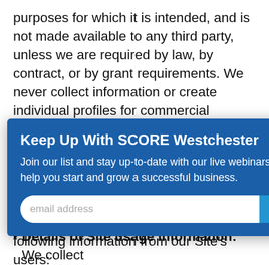purposes for which it is intended, and is not made available to any third party, unless we are required by law, by contract, or by grant requirements. We never collect information or create individual profiles for commercial marketing. However, when you join an online community and participate in online
[Figure (screenshot): Modal popup with dark blue background titled 'Keep Up With SCORE Westchester'. Contains subtext about joining a list and staying up-to-date with live webinars. Has an email address input field and a SUBMIT button.]
Additionally, we may collect the following information from our Site's users:
Details of Site usage information: We collect